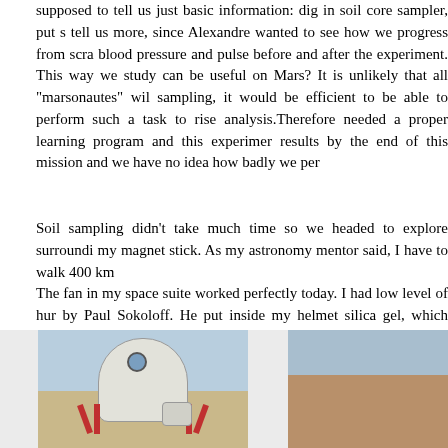supposed to tell us just basic information: dig in soil core sampler, put s... tell us more, since Alexandre wanted to see how we progress from scra... blood pressure and pulse before and after the experiment. This way we ... study can be useful on Mars? It is unlikely that all "marsonautes" wil... sampling, it would be efficient to be able to perform such a task to rise ... analysis.Therefore needed a proper learning program and this experimer... results by the end of this mission and we have no idea how badly we per...
Soil sampling didn't take much time so we headed to explore surroundi... my magnet stick. As my astronomy mentor said, I have to walk 400 km ...
The fan in my space suite worked perfectly today. I had low level of hur... by Paul Sokoloff. He put inside my helmet silica gel, which isused ... degradation of some goods. Other crew member didn't have this upgra... much through misted glass of the helmet. Amazing how little thing can c... big discoveries!
[Figure (photo): Two photographs side by side: left shows a white cylindrical habitat structure (Mars Desert Research Station) against a blue sky with red support legs; right shows a reddish desert landscape terrain.]